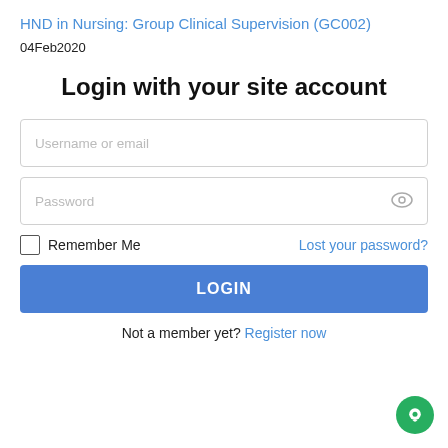HND in Nursing: Group Clinical Supervision (GC002)
04Feb2020
Login with your site account
[Figure (screenshot): Login form with Username or email field, Password field with eye icon, Remember Me checkbox, Lost your password? link, and LOGIN button]
Not a member yet? Register now